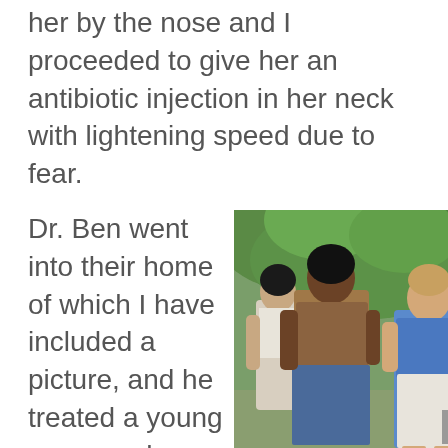her by the nose and I proceeded to give her an antibiotic injection in her neck with lightening speed due to fear.
Dr. Ben went into their home of which I have included a picture, and he treated a young woman who had
[Figure (photo): Outdoor photo showing two women and a man in a tropical garden setting. One woman wears a brown top and blue skirt, another wears a white top. A man in a blue shirt and white shorts stands to the right.]